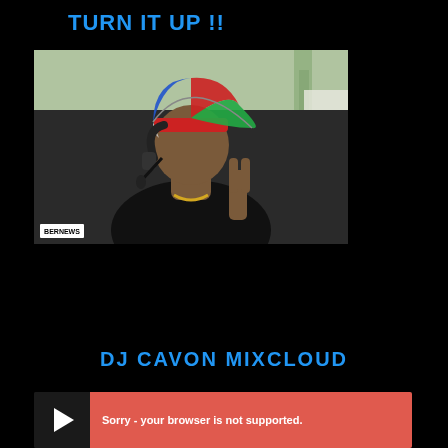TURN IT UP !!
[Figure (photo): DJ wearing a colorful umbrella hat (red, blue, green sections) and headphones around neck, making a peace sign, wearing a black 'BERMUDA' shirt. BERNEWS watermark in bottom left corner. Outdoor setting with palm trees in background.]
DJ CAVON MIXCLOUD
[Figure (screenshot): Mixcloud embedded player showing 'Sorry - your browser is not supported.' error message on a red/coral background with a play button on the left side.]